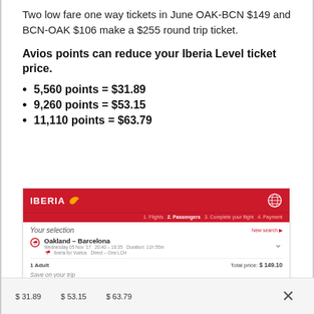Two low fare one way tickets in June OAK-BCN $149 and BCN-OAK $106 make a $255 round trip ticket.
Avios points can reduce your Iberia Level ticket price.
5,560 points = $31.89
9,260 points = $53.15
11,110 points = $63.79
[Figure (screenshot): Iberia airline booking screenshot showing selection of Oakland - Barcelona flight, 1 Adult, Total price $149.10, with 'Save on your trip' section showing Avios discount and promotional code fields.]